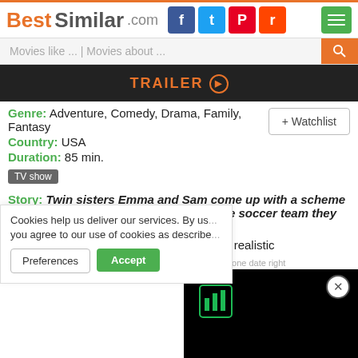BestSimilar.com
Movies like ... | Movies about ...
[Figure (screenshot): TRAILER play button bar on dark background]
Genre: Adventure, Comedy, Drama, Family, Fantasy
+ Watchlist
Country: USA
Duration: 85 min.
TV show
Story: Twin sisters Emma and Sam come up with a scheme to switch places so each can play in the soccer team they prefer.
Style: semi serious, humorous, feel good, realistic
Audience: pre-teens, family outin... ...
Cookies help us deliver our services. By us... you agree to our use of cookies as describe...
Preferences
Accept